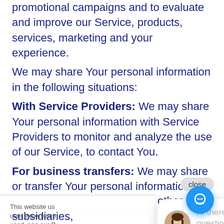promotional campaigns and to evaluate and improve our Service, products, services, marketing and your experience.
We may share Your personal information in the following situations:
With Service Providers: We may share Your personal information with Service Providers to monitor and analyze the use of our Service, to contact You.
For business transfers: We may share or transfer Your personal information in connection with
[Figure (screenshot): Close button overlay on text]
[Figure (screenshot): Cookie consent banner with I agree button and chat widget showing avatar of a woman and text: Hi there, have a question? Text us here.]
Our parent company and any other subsidiaries,